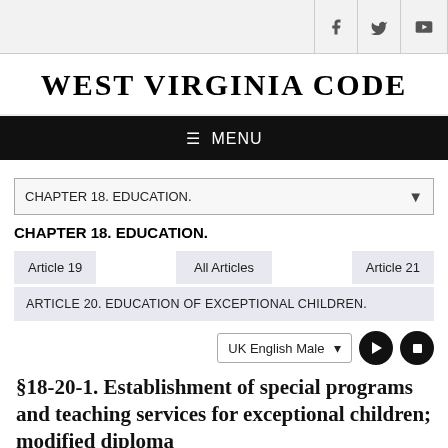WEST VIRGINIA CODE
MENU
CHAPTER 18. EDUCATION.
CHAPTER 18. EDUCATION.
Article 19 | All Articles | Article 21
ARTICLE 20. EDUCATION OF EXCEPTIONAL CHILDREN.
UK English Male
§18-20-1. Establishment of special programs and teaching services for exceptional children; modified diploma